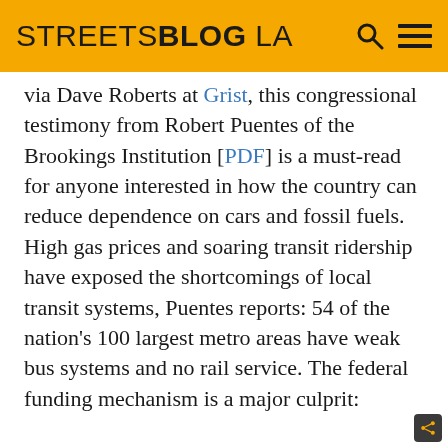STREETSBLOG LA
via Dave Roberts at Grist, this congressional testimony from Robert Puentes of the Brookings Institution [PDF] is a must-read for anyone interested in how the country can reduce dependence on cars and fossil fuels. High gas prices and soaring transit ridership have exposed the shortcomings of local transit systems, Puentes reports: 54 of the nation's 100 largest metro areas have weak bus systems and no rail service. The federal funding mechanism is a major culprit: